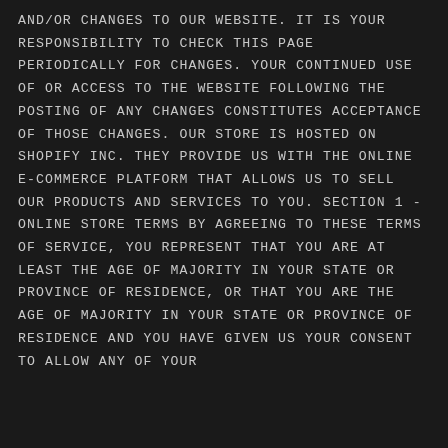and/or changes to our website. It is your responsibility to check this page periodically for changes. Your continued use of or access to the website following the posting of any changes constitutes acceptance of those changes. Our store is hosted on Shopify Inc. They provide us with the online e-commerce platform that allows us to sell our products and services to you. SECTION 1 - ONLINE STORE TERMS By agreeing to these Terms of Service, you represent that you are at least the age of majority in your state or province of residence, or that you are the age of majority in your state or province of residence and you have given us your consent to allow any of your